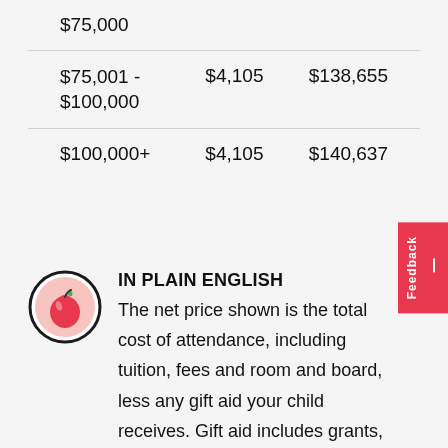| $75,000 |  |  |
| $75,001 -
$100,000 | $4,105 | $138,655 |
| $100,000+ | $4,105 | $140,637 |
IN PLAIN ENGLISH
The net price shown is the total cost of attendance, including tuition, fees and room and board, less any gift aid your child receives. Gift aid includes grants, scholarships and any other money that does not need to be earned through work